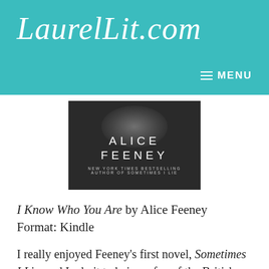LaurelLit.com
[Figure (photo): Book cover for Alice Feeney — New York Times Bestselling Author of Sometimes I Lie, dark background with glowing light effect]
I Know Who You Are by Alice Feeney
Format: Kindle
I really enjoyed Feeney’s first novel, Sometimes I Lie, and I admit to being a fan of the British psychological thriller with a flawed heroine and a